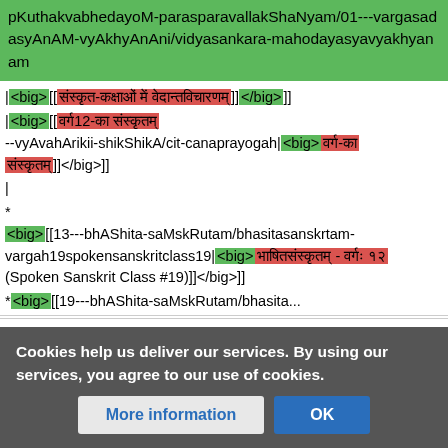pKuthakvabhedayoM-parasparavallakShaNyam/01---vargasadasyAnAM-vyAkhyAnAni/vidyasankara-mahodayasyavyakhyanam
|<big>[[संस्कृत-कक्षाओं में वेदान्तविचारणम्]]</big>]]
|<big>[[वर्ग12-का संस्कृतम् --vyAvahArikii-shikShikA/cit-canaprayogah|<big>वर्ग-का संस्कृतम्]]</big>]]
|
* <big>[[13---bhAShita-saMskRutam/bhasitasanskrtam-vargah19spokensanskritclass19|<big>भाषितसंस्कृतम् - वर्गः १९ (Spoken Sanskrit Class #19)]]</big>]]
* <big>[[19---bhAShita-...
Vidhya
PAGE AND LINK MANAGERS.
EDITS
Cookies help us deliver our services. By using our services, you agree to our use of cookies.
More information | OK